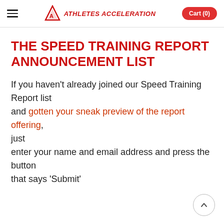≡  ATHLETES ACCELERATION  Cart (0)
THE SPEED TRAINING REPORT ANNOUNCEMENT LIST
If you haven't already joined our Speed Training Report list and gotten your sneak preview of the report offering, just enter your name and email address and press the button that says 'Submit'